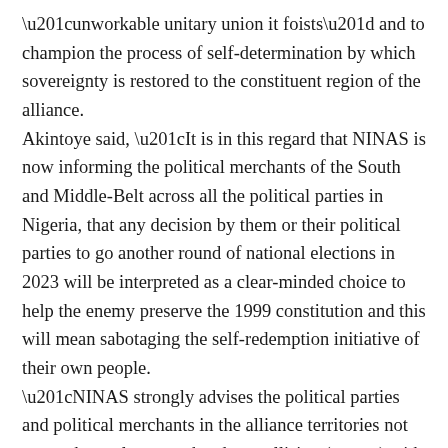“unworkable unitary union it foists” and to champion the process of self-determination by which sovereignty is restored to the constituent region of the alliance. Akintoye said, “It is in this regard that NINAS is now informing the political merchants of the South and Middle-Belt across all the political parties in Nigeria, that any decision by them or their political parties to go another round of national elections in 2023 will be interpreted as a clear-minded choice to help the enemy preserve the 1999 constitution and this will mean sabotaging the self-redemption initiative of their own people. “NINAS strongly advises the political parties and political merchants in the alliance territories not to put themselves on a head-on collision (course) with the peoples of the territories in their quest for self-preservation via self-determination.” Akintoye added that NINAS had declared a 120-day period of consultations, which started on Saturday, adding that it would consult with people in the South and Middle-Belt, organised